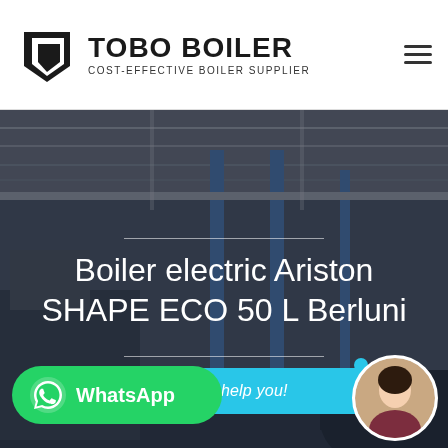[Figure (logo): TOBO BOILER logo with shield/kite icon and tagline COST-EFFECTIVE BOILER SUPPLIER]
[Figure (photo): Industrial factory/manufacturing facility interior with large machinery, blue vertical columns, overhead cranes and equipment, used as hero background image]
Boiler electric Ariston SHAPE ECO 50 L Berluni
Hey, let me help you!
WhatsApp